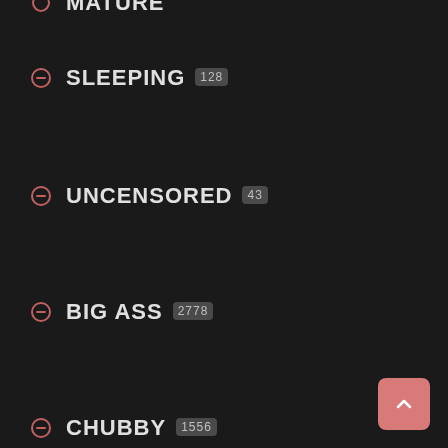MATURE
SLEEPING 128
UNCENSORED 43
BIG ASS 2778
CHUBBY 1556
JAPANESE 245
WIFE 2332
DESI 72
SISTER 190
DAD 338